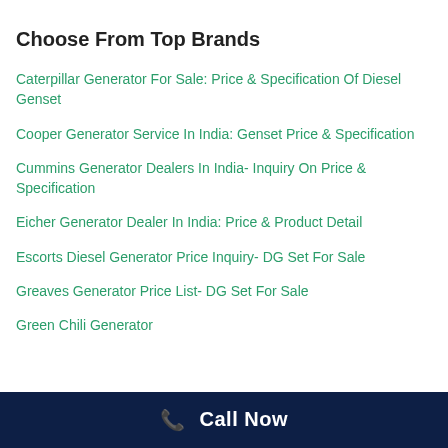Choose From Top Brands
Caterpillar Generator For Sale: Price & Specification Of Diesel Genset
Cooper Generator Service In India: Genset Price & Specification
Cummins Generator Dealers In India- Inquiry On Price & Specification
Eicher Generator Dealer In India: Price & Product Detail
Escorts Diesel Generator Price Inquiry- DG Set For Sale
Greaves Generator Price List- DG Set For Sale
Green Chili Generator
📞 Call Now